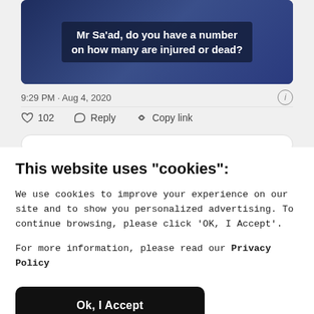[Figure (screenshot): Screenshot of a tweet showing a video thumbnail with text overlay: 'Mr Sa'ad, do you have a number on how many are injured or dead?' with timestamp '9:29 PM · Aug 4, 2020' and action buttons for 102 likes, Reply, and Copy link]
This website uses "cookies":
We use cookies to improve your experience on our site and to show you personalized advertising. To continue browsing, please click 'OK, I Accept'.
For more information, please read our Privacy Policy
Ok, I Accept